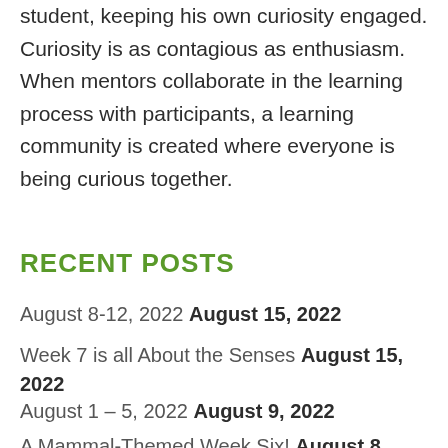student, keeping his own curiosity engaged. Curiosity is as contagious as enthusiasm. When mentors collaborate in the learning process with participants, a learning community is created where everyone is being curious together.
RECENT POSTS
August 8-12, 2022 August 15, 2022
Week 7 is all About the Senses August 15, 2022
August 1 – 5, 2022 August 9, 2022
A Mammal-Themed Week Six! August 8, 2022